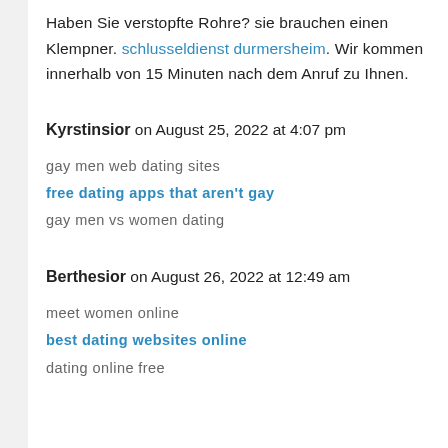Haben Sie verstopfte Rohre? sie brauchen einen Klempner. schlusseldienst durmersheim. Wir kommen innerhalb von 15 Minuten nach dem Anruf zu Ihnen.
Kyrstinsior on August 25, 2022 at 4:07 pm
gay men web dating sites
free dating apps that aren't gay
gay men vs women dating
Berthesior on August 26, 2022 at 12:49 am
meet women online
best dating websites online
dating online free